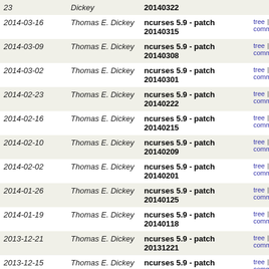| Date | Author | Subject |  |
| --- | --- | --- | --- |
| 2014-03-16 | Thomas E. Dickey | ncurses 5.9 - patch 20140315 | tree | commitdiff |
| 2014-03-09 | Thomas E. Dickey | ncurses 5.9 - patch 20140308 | tree | commitdiff |
| 2014-03-02 | Thomas E. Dickey | ncurses 5.9 - patch 20140301 | tree | commitdiff |
| 2014-02-23 | Thomas E. Dickey | ncurses 5.9 - patch 20140222 | tree | commitdiff |
| 2014-02-16 | Thomas E. Dickey | ncurses 5.9 - patch 20140215 | tree | commitdiff |
| 2014-02-10 | Thomas E. Dickey | ncurses 5.9 - patch 20140209 | tree | commitdiff |
| 2014-02-02 | Thomas E. Dickey | ncurses 5.9 - patch 20140201 | tree | commitdiff |
| 2014-01-26 | Thomas E. Dickey | ncurses 5.9 - patch 20140125 | tree | commitdiff |
| 2014-01-19 | Thomas E. Dickey | ncurses 5.9 - patch 20140118 | tree | commitdiff |
| 2013-12-21 | Thomas E. Dickey | ncurses 5.9 - patch 20131221 | tree | commitdiff |
| 2013-12-15 | Thomas E. Dickey | ncurses 5.9 - patch 20131214 | tree | commitdiff |
| 2013-12-08 | Thomas E. Dickey | ncurses 5.9 - patch 20131207 | tree | commitdiff |
| 2013-11-24 | Thomas E. Dickey | ncurses 5.9 - patch 20131123 | tree | commitdiff |